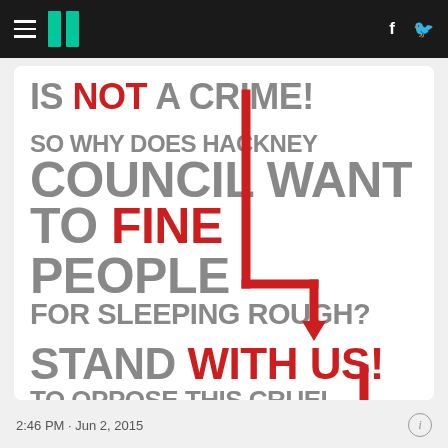HuffPost navigation bar with hamburger menu, logo, facebook and twitter icons
[Figure (infographic): Protest poster screenshot. Text reads: IS NOT A CRIME! SO WHY DOES HACKNEY COUNCIL WANT TO FINE PEOPLE FOR SLEEPING ROUGH? STAND WITH US! TO OPPOSE THIS CRUEL AND UNFAIR PUNISHMENT. The word NOT and FINE and WITH US! are in red; other text is gray. A red arrow/bracket graphic runs through the poster.]
2:46 PM · Jun 2, 2015